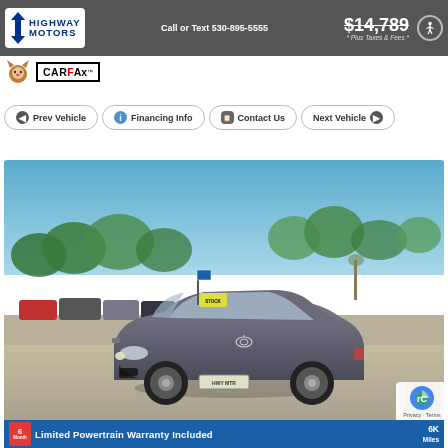Highway Motors | Call or Text 530-895-5555 | $14,789 * Plus Taxes & Fees *
[Figure (logo): Highway Motors dealership logo — blue text on white background with stylized S graphic]
[Figure (logo): Carfox and CARFAX badge logos]
Prev Vehicle | Financing Info | Contact Us | Next Vehicle
[Figure (photo): Gray Toyota Yaris hatchback in a dealership lot, trees and blue sky in background]
Limited Powertrain Warranty Included — 6 Month / 6K Miles